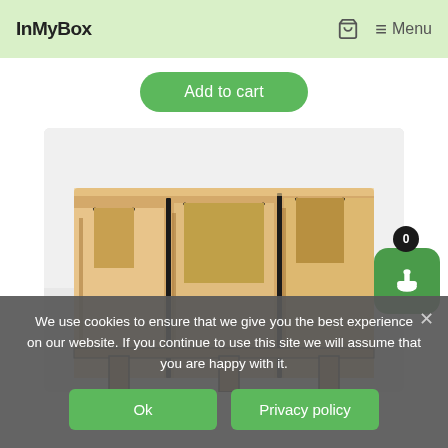InMyBox   🛒   ≡ Menu
Add to cart
[Figure (photo): Wooden laser-cut box organizer with multiple U-shaped slots, photographed against a white background. The box is made of light birch plywood with dark burnt edges.]
We use cookies to ensure that we give you the best experience on our website. If you continue to use this site we will assume that you are happy with it.
Ok
Privacy policy